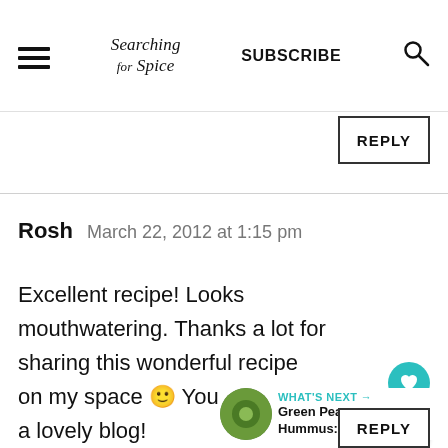Searching for Spice | SUBSCRIBE
REPLY
Rosh   March 22, 2012 at 1:15 pm
Excellent recipe! Looks mouthwatering. Thanks a lot for sharing this wonderful recipe on my space 🙂 You have such a lovely blog!
[Figure (other): WHAT'S NEXT arrow with Green Pea Hummus thumbnail image]
REPLY